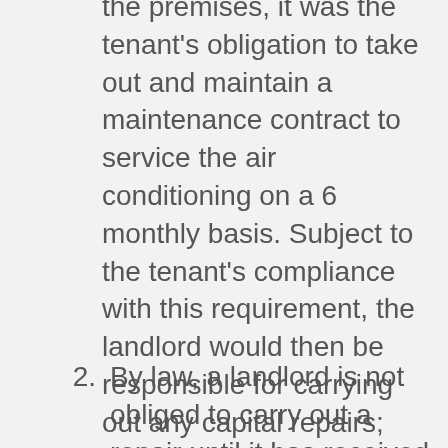the premises, it was the tenant's obligation to take out and maintain a maintenance contract to service the air conditioning on a 6 monthly basis. Subject to the tenant's compliance with this requirement, the landlord would then be responsible for carrying out any capital repairs;
By law, a landlord is not obliged to carry out a repair until it has received notice of the defect that would be sufficient to 'put a reasonable person on enquiry